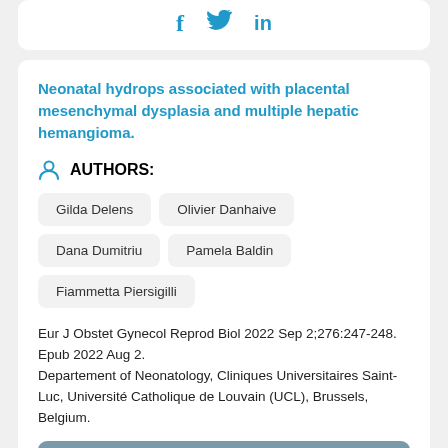[Figure (other): Social media sharing icons: Facebook (f), Twitter (bird), LinkedIn (in) in blue]
Neonatal hydrops associated with placental mesenchymal dysplasia and multiple hepatic hemangioma.
AUTHORS:
Gilda Delens
Olivier Danhaive
Dana Dumitriu
Pamela Baldin
Fiammetta Piersigilli
Eur J Obstet Gynecol Reprod Biol 2022 Sep 2;276:247-248. Epub 2022 Aug 2.
Departement of Neonatology, Cliniques Universitaires Saint-Luc, Université Catholique de Louvain (UCL), Brussels, Belgium.
[Figure (other): Button: VIEW ARTICLE AND FULL TEXT PDF with book/document icon]